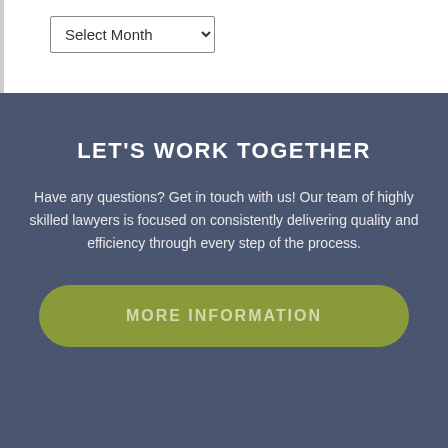[Figure (screenshot): A dropdown/select UI element labeled 'Select Month' with a dropdown arrow, inside a white section with a left grey border.]
LET'S WORK TOGETHER
Have any questions? Get in touch with us! Our team of highly skilled lawyers is focused on consistently delivering quality and efficiency through every step of the process.
MORE INFORMATION